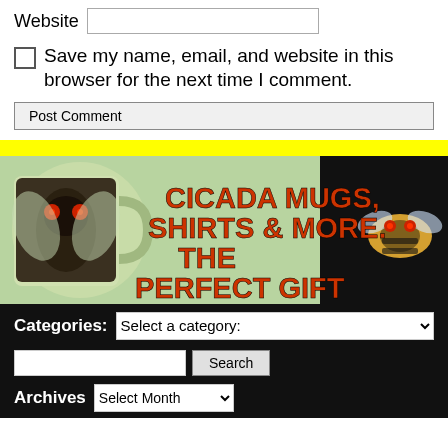Website [input field]
Save my name, email, and website in this browser for the next time I comment.
Post Comment
[Figure (illustration): Advertisement banner with yellow background bar and image showing cicada mugs, shirts and more - the perfect gift. Shows a cicada photo on left and a t-shirt with bee graphic on right. Text reads: CICADA MUGS, SHIRTS & MORE. THE PERFECT GIFT]
Categories: Select a category:
Search
Archives Select Month